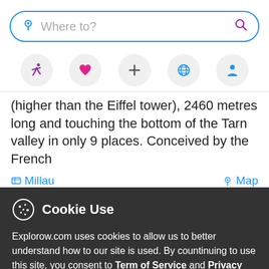[Figure (screenshot): Search bar with blue border, location pin icon on left, 'Where to?' placeholder text, purple search magnifier icon on right]
[Figure (screenshot): Navigation icon row with five circular grey buttons: running person (purple), heart (red/pink), plus (+), globe (blue), person/profile (blue)]
(higher than the Eiffel tower), 2460 metres long and touching the bottom of the Tarn valley in only 9 places. Conceived by the French
Millau   Map
Cookie Use
Explorow.com uses cookies to allow us to better understand how to our site is used. By countinuing to use this site, you consent to Term of Service and Privacy Policy of Explorow.com service.
More info   Accept all